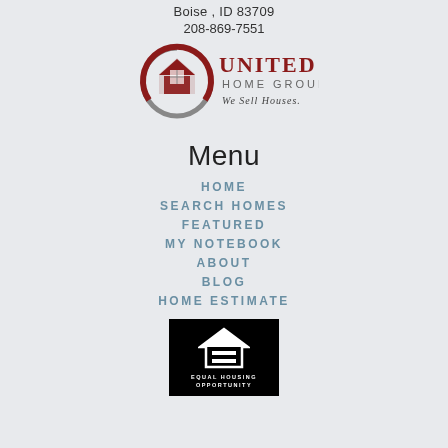Boise , ID 83709
208-869-7551
[Figure (logo): United Home Group logo with house icon and tagline 'We Sell Houses.']
Menu
HOME
SEARCH HOMES
FEATURED
MY NOTEBOOK
ABOUT
BLOG
HOME ESTIMATE
[Figure (logo): Equal Housing Opportunity logo - white house with equal sign on black background]